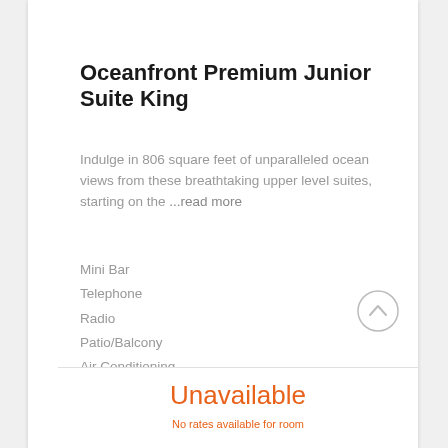Oceanfront Premium Junior Suite King
Indulge in 806 square feet of unparalleled ocean views from these breathtaking upper level suites, starting on the ...read more
Mini Bar
Telephone
Radio
Patio/Balcony
Air Conditioning
Iron and Ironing board
In room safe
Hair Dryer
Coffee maker
Television
Unavailable
No rates available for room